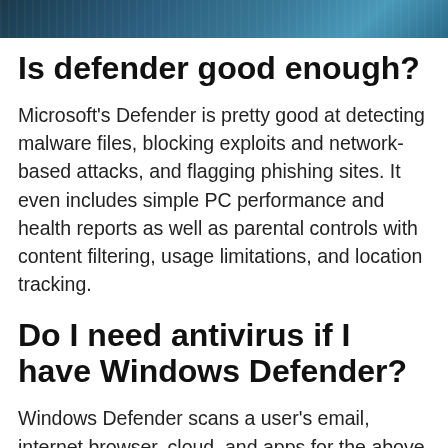[Figure (photo): Banner image showing a cybersecurity/technology themed photo, dark blue tones, partially visible at top of page]
Is defender good enough?
Microsoft's Defender is pretty good at detecting malware files, blocking exploits and network-based attacks, and flagging phishing sites. It even includes simple PC performance and health reports as well as parental controls with content filtering, usage limitations, and location tracking.
Do I need antivirus if I have Windows Defender?
Windows Defender scans a user's email, internet browser, cloud, and apps for the above cyberthreats. However, Windows Defender lacks endpoint protection and